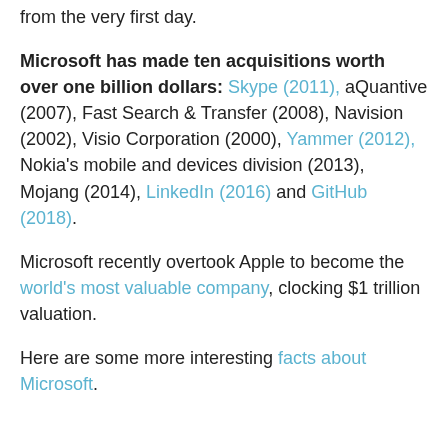from the very first day.
Microsoft has made ten acquisitions worth over one billion dollars: Skype (2011), aQuantive (2007), Fast Search & Transfer (2008), Navision (2002), Visio Corporation (2000), Yammer (2012), Nokia's mobile and devices division (2013), Mojang (2014), LinkedIn (2016) and GitHub (2018).
Microsoft recently overtook Apple to become the world's most valuable company, clocking $1 trillion valuation.
Here are some more interesting facts about Microsoft.